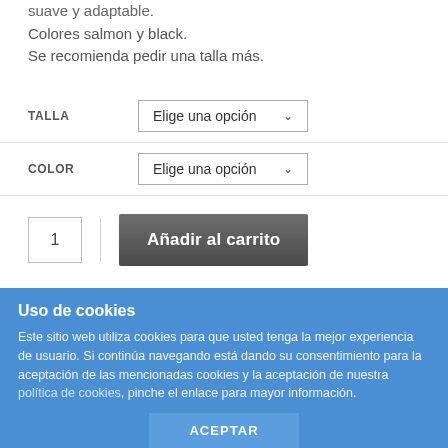suave y adaptable.
Colores salmon y black.
Se recomienda pedir una talla más.
TALLA   Elige una opción
COLOR   Elige una opción
1   Añadir al carrito
We use cookies on our website to give you the most relevant experience by remembering your preferences and repeat visits. By clicking "Accept All", you consent to the use
Uso de cookies
Este sitio web utiliza cookies para que usted tenga la mejor experiencia de usuario. Si continúa navegando está dando su consentimiento para la aceptación de las mencionadas cookies y la aceptación de nuestra política de cookies, pinche el enlace para mayor información.
ACEPTAR